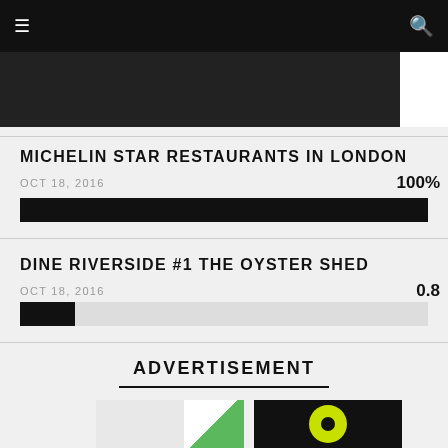≡   [search icon]
[Figure (photo): Dark image strip at top of page]
MICHELIN STAR RESTAURANTS IN LONDON
OCT 18, 2016   100%
[Figure (infographic): Black progress bar at 100%]
DINE RIVERSIDE #1 THE OYSTER SHED
OCT 18, 2016   0.8
[Figure (infographic): Black progress bar at ~8%]
ADVERTISEMENT
[Figure (illustration): Two advertisement images side by side — left shows green corner on light background, right shows yellow-green circle on black background]